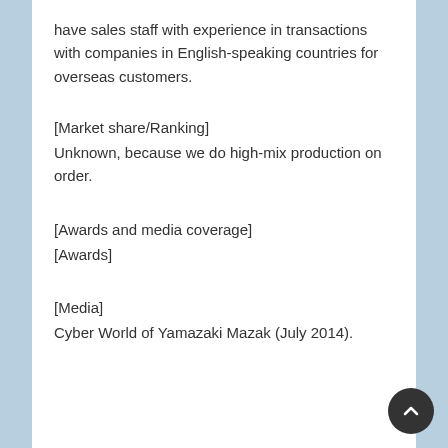have sales staff with experience in transactions with companies in English-speaking countries for overseas customers.
[Market share/Ranking]
Unknown, because we do high-mix production on order.
[Awards and media coverage]
[Awards]
[Media]
Cyber World of Yamazaki Mazak (July 2014).